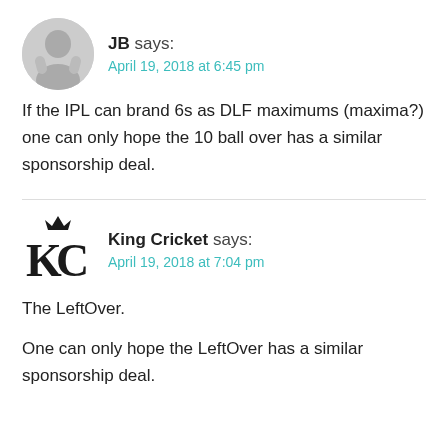JB says:
April 19, 2018 at 6:45 pm
If the IPL can brand 6s as DLF maximums (maxima?) one can only hope the 10 ball over has a similar sponsorship deal.
King Cricket says:
April 19, 2018 at 7:04 pm
The LeftOver.

One can only hope the LeftOver has a similar sponsorship deal.